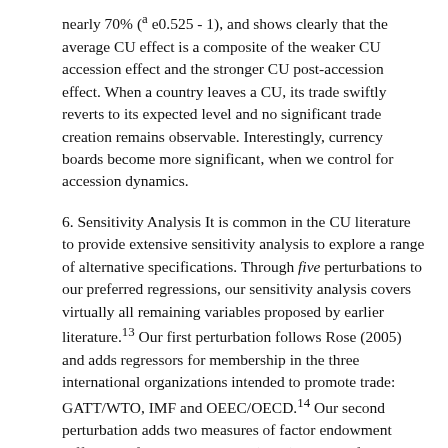nearly 70% (ª e0.525 - 1), and shows clearly that the average CU effect is a composite of the weaker CU accession effect and the stronger CU post-accession effect. When a country leaves a CU, its trade swiftly reverts to its expected level and no significant trade creation remains observable. Interestingly, currency boards become more significant, when we control for accession dynamics.
6. Sensitivity Analysis It is common in the CU literature to provide extensive sensitivity analysis to explore a range of alternative specifications. Through five perturbations to our preferred regressions, our sensitivity analysis covers virtually all remaining variables proposed by earlier literature.13 Our first perturbation follows Rose (2005) and adds regressors for membership in the three international organizations intended to promote trade: GATT/WTO, IMF and OEEC/OECD.14 Our second perturbation adds two measures of factor endowment differences from Frankel et al. (1995) to proxy for Heckscher– Ohlin trade. These two measures are the absolute log differences in per capita GDP and population density. In the third and fourth perturbations, we drop FX volatility and the CB variables. The omission of FX volatility extends our dataset back to 1950 and increases the number of observations by roughly ten thousand. Finally, our fifth